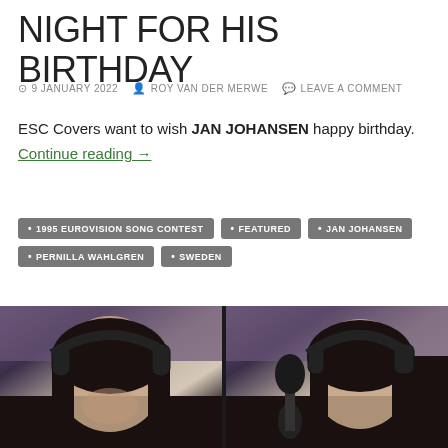NIGHT FOR HIS BIRTHDAY
9 JANUARY 2022  ROY VAN DER MERWE  LEAVE A COMMENT
ESC Covers want to wish JAN JOHANSEN happy birthday.
Continue reading →
1995 EUROVISION SONG CONTEST
FEATURED
JAN JOHANSEN
PERNILLA WAHLGREN
SWEDEN
[Figure (photo): Two side-by-side images of a woman with dark hair wearing black headphones, singing in a recording studio. A microphone is visible in the center dividing the two images.]